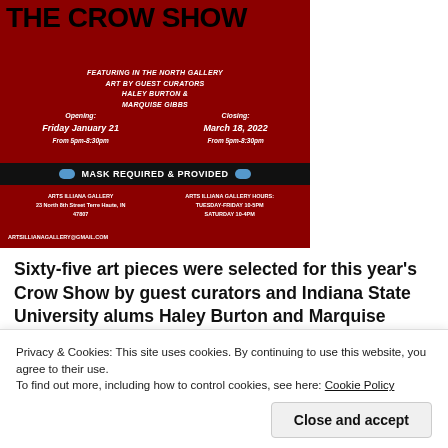[Figure (illustration): Event flyer for 'The Crow Show' at Arts Illiana Gallery. Red background with crow imagery. Title in large black text. Details: featuring art by guest curators Haley Burton and Marquise Gibbs. Opening: Friday January 21, From 5pm-8:30pm. Closing: March 18, 2022, From 5pm-8:30pm. Mask Required & Provided. Address: 23 North 8th Street Terre Haute, IN 47807. Hours: Tuesday-Friday 10-5PM, Saturday 10-4PM. Email: artsillianagallery@gmail.com]
Sixty-five art pieces were selected for this year's Crow Show by guest curators and Indiana State University alums Haley Burton and Marquise Gibbs. The 44 featured artists hail from
Privacy & Cookies: This site uses cookies. By continuing to use this website, you agree to their use.
To find out more, including how to control cookies, see here: Cookie Policy
Close and accept